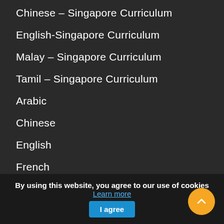Chinese – Singapore Curriculum
English-Singapore Curriculum
Malay – Singapore Curriculum
Tamil – Singapore Curriculum
Arabic
Chinese
English
French
Japanese
Malayalam
By using this website, you agree to our use of cookies Learn more  I agree